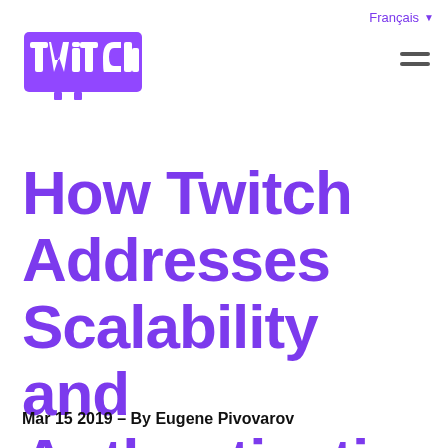Français ▼
[Figure (logo): Twitch logo in purple with white outline lettering]
How Twitch Addresses Scalability and Authentication
Mar 15 2019 - By Eugene Pivovarov